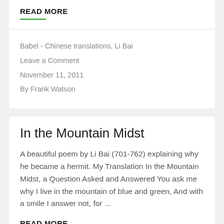READ MORE
Babel - Chinese translations, Li Bai
Leave a Comment
November 11, 2011
By Frank Watson
In the Mountain Midst
A beautiful poem by Li Bai (701-762) explaining why he became a hermit. My Translation In the Mountain Midst, a Question Asked and Answered You ask me why I live in the mountain of blue and green, And with a smile I answer not, for ...
READ MORE